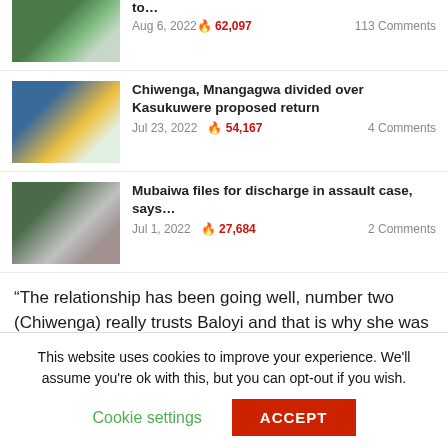to…
Aug 6, 2022 🔥 62,097  113 Comments
Chiwenga, Mnangagwa divided over Kasukuwere proposed return
Jul 23, 2022 🔥 54,167  4 Comments
Mubaiwa files for discharge in assault case, says…
Jul 1, 2022 🔥 27,684  2 Comments
“The relationship has been going well, number two (Chiwenga) really trusts Baloyi and that is why she was allowed to visit him in China. They have been staying together for a while,” the source said.
This website uses cookies to improve your experience. We'll assume you're ok with this, but you can opt-out if you wish. Cookie settings  ACCEPT